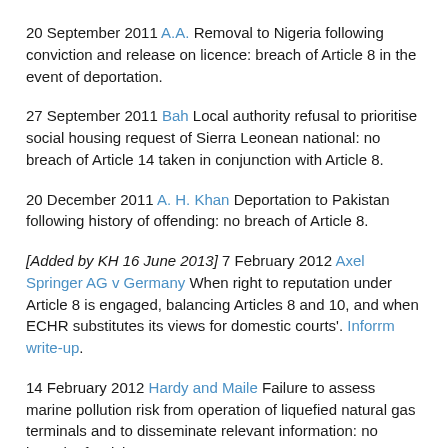20 September 2011 A.A. Removal to Nigeria following conviction and release on licence: breach of Article 8 in the event of deportation.
27 September 2011 Bah Local authority refusal to prioritise social housing request of Sierra Leonean national: no breach of Article 14 taken in conjunction with Article 8.
20 December 2011 A. H. Khan Deportation to Pakistan following history of offending: no breach of Article 8.
[Added by KH 16 June 2013] 7 February 2012 Axel Springer AG v Germany When right to reputation under Article 8 is engaged, balancing Articles 8 and 10, and when ECHR substitutes its views for domestic courts'. Inforrm write-up.
14 February 2012 Hardy and Maile Failure to assess marine pollution risk from operation of liquefied natural gas terminals and to disseminate relevant information: no breach of Article 8.
13 March 2012 Y.C. Failure to order assessment of claimant